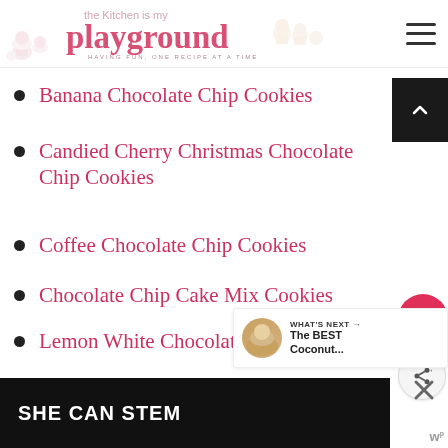The Kitchen is my playground — HAVING FUN, ONE RECIPE AT A TIME
Banana Chocolate Chip Cookies
Candied Cherry Christmas Chocolate Chip Cookies
Coffee Chocolate Chip Cookies
Chocolate Chip Cake Mix Cookies
Lemon White Chocolate Chip Cookies
Peanut Butter Chocolate Chip Cookies
WHAT'S NEXT → The BEST Coconut...
SHE CAN STEM